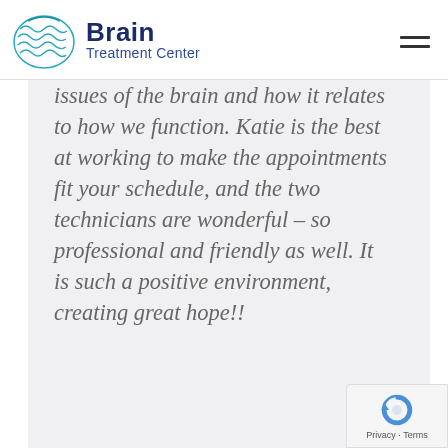[Figure (logo): Brain Treatment Center logo with teal brain wave illustration and blue text]
issues of the brain and how it relates to how we function. Katie is the best at working to make the appointments fit your schedule, and the two technicians are wonderful – so professional and friendly as well. It is such a positive environment, creating great hope!!